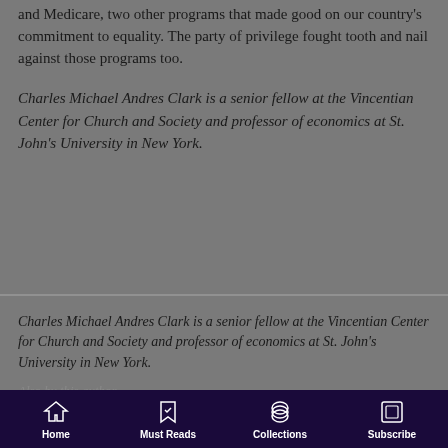and Medicare, two other programs that made good on our country's commitment to equality. The party of privilege fought tooth and nail against those programs too.
Charles Michael Andres Clark is a senior fellow at the Vincentian Center for Church and Society and professor of economics at St. John's University in New York.
Charles Michael Andres Clark is a senior fellow at the Vincentian Center for Church and Society and professor of economics at St. John's University in New York.
Also by this author
Home | Must Reads | Collections | Subscribe